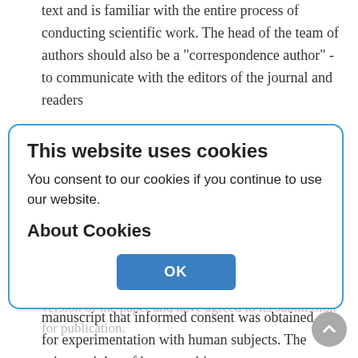text and is familiar with the entire process of conducting scientific work. The head of the team of authors should also be a "correspondence author" - to communicate with the editors of the journal and readers
(after the publication of the article).
The corresponding author should ensure that all appropriate co-authors (as defined above) and no inappropriate co-authors are included on the paper and that all co-authors have seen and approved the final version of the paper and have agreed to its submission for publication.
Hazards and Human Subjects
Authors should include a statement in the manuscript that informed consent was obtained for experimentation with human subjects. The privacy rights of human subjects
This website uses cookies
You consent to our cookies if you continue to use our website.
About Cookies
OK